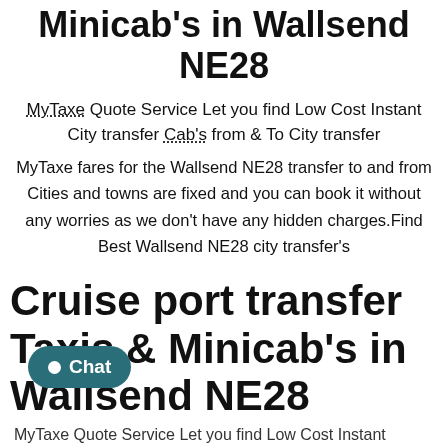Minicab's in Wallsend NE28
MyTaxe Quote Service Let you find Low Cost Instant City transfer Cab's from & To City transfer
MyTaxe fares for the Wallsend NE28 transfer to and from Cities and towns are fixed and you can book it without any worries as we don't have any hidden charges.Find Best Wallsend NE28 city transfer's
Cruise port transfer Taxis & Minicab's in Wallsend NE28
MyTaxe Quote Service Let you find Low Cost Instant